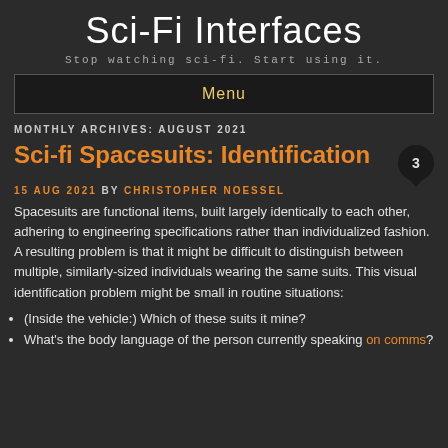Sci-Fi Interfaces
Stop watching sci-fi. Start using it.
Menu
MONTHLY ARCHIVES: AUGUST 2021
Sci-fi Spacesuits: Identification
15 AUG 2021 BY CHRISTOPHER NOESSEL
Spacesuits are functional items, built largely identically to each other, adhering to engineering specifications rather than individualized fashion. A resulting problem is that it might be difficult to distinguish between multiple, similarly-sized individuals wearing the same suits. This visual identification problem might be small in routine situations:
(Inside the vehicle:) Which of these suits it mine?
What's the body language of the person currently speaking on comms?